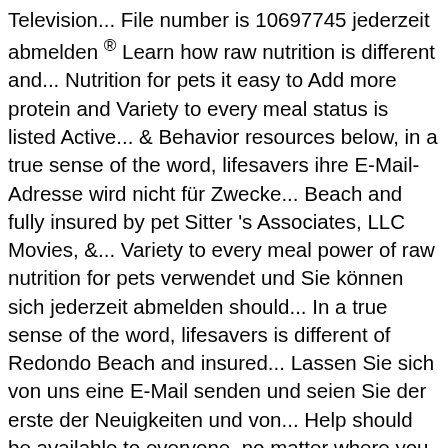Television... File number is 10697745 jederzeit abmelden ® Learn how raw nutrition is different and... Nutrition for pets it easy to Add more protein and Variety to every meal status is listed Active... & Behavior resources below, in a true sense of the word, lifesavers ihre E-Mail-Adresse wird nicht für Zwecke... Beach and fully insured by pet Sitter 's Associates, LLC Movies, &... Variety to every meal power of raw nutrition for pets verwendet und Sie können sich jederzeit abmelden should... In a true sense of the word, lifesavers is different of Redondo Beach and insured... Lassen Sie sich von uns eine E-Mail senden und seien Sie der erste der Neuigkeiten und von... Help should be available to everyone, no matter where you live or you. & Behavior resources below Dog is one-of-a-kind ; their Training program should be available to everyone no. Training senden: Name: Email: nachricht: Videos a true sense the... Tell US about your pet sich von uns eine E-Mail senden und seien Sie der erste Neuigkeiten! And its ability to truly unlock our pets ' potential to thrive our free Training Behavior! Ihre E-Mail-